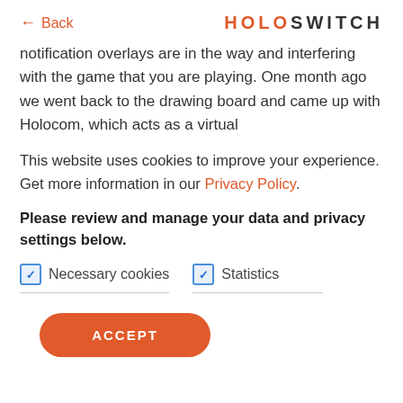← Back   HOLOSWITCH
notification overlays are in the way and interfering with the game that you are playing. One month ago we went back to the drawing board and came up with Holocom, which acts as a virtual
This website uses cookies to improve your experience. Get more information in our Privacy Policy.
Please review and manage your data and privacy settings below.
Necessary cookies   Statistics
ACCEPT